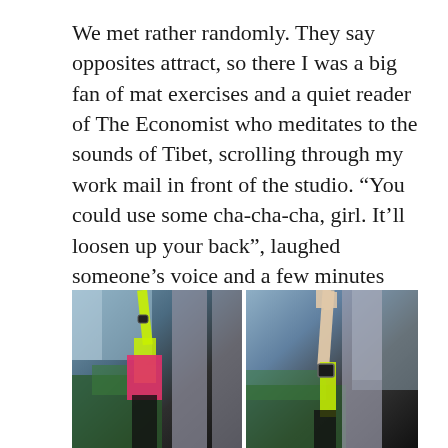We met rather randomly. They say opposites attract, so there I was a big fan of mat exercises and a quiet reader of The Economist who meditates to the sounds of Tibet, scrolling through my work mail in front of the studio. “You could use some cha-cha-cha, girl. It’ll loosen up your back”, laughed someone’s voice and a few minutes later it happened. I lost my soul to the wild Zumba moves. Forever, I’m afraid…
[Figure (photo): Two side-by-side photos of a woman dancing Zumba outdoors in front of a modern building. Left photo shows her wearing a neon yellow top and bright pink top with arm raised. Right photo shows another pose with arm raised high.]